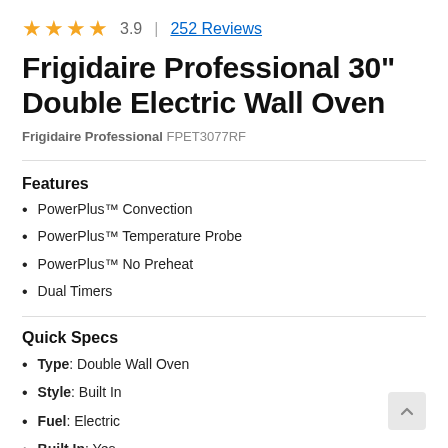[Figure (other): Star rating: 4 filled gold stars, rating 3.9, 252 Reviews link]
Frigidaire Professional 30" Double Electric Wall Oven
Frigidaire Professional FPET3077RF
Features
PowerPlus™ Convection
PowerPlus™ Temperature Probe
PowerPlus™ No Preheat
Dual Timers
Quick Specs
Type: Double Wall Oven
Style: Built In
Fuel: Electric
Built In: Yes
Width: 30"
Height: 50 7/16"